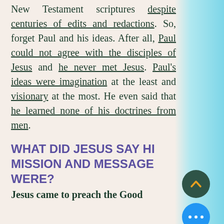New Testament scriptures despite centuries of edits and redactions. So, forget Paul and his ideas. After all, Paul could not agree with the disciples of Jesus and he never met Jesus. Paul's ideas were imagination at the least and visionary at the most. He even said that he learned none of his doctrines from men.
WHAT DID JESUS SAY HIS MISSION AND MESSAGE WERE?
Jesus came to preach the Good